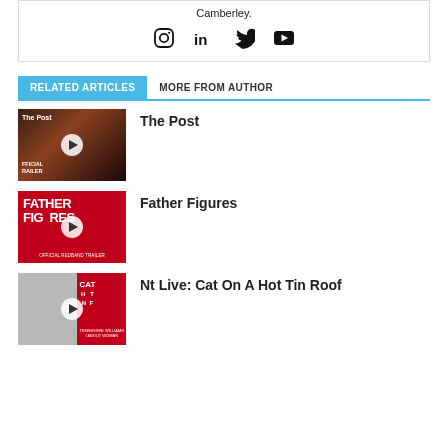Camberley.
[Figure (infographic): Social media icons: Instagram, LinkedIn, Twitter, YouTube]
RELATED ARTICLES | MORE FROM AUTHOR
[Figure (photo): Thumbnail for 'The Post' movie trailer]
The Post
[Figure (photo): Thumbnail for 'Father Figures' official redband trailer]
Father Figures
[Figure (photo): Thumbnail for 'Nt Live: Cat On A Hot Tin Roof']
Nt Live: Cat On A Hot Tin Roof